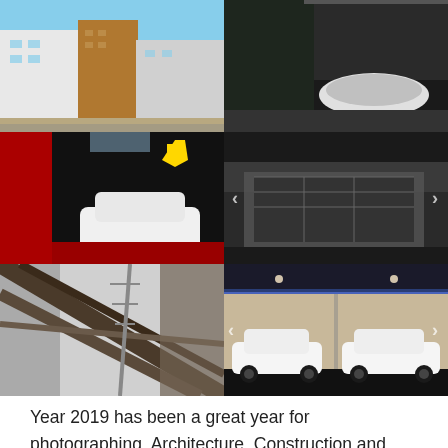[Figure (photo): Grid of 6 architectural and automotive photography images: top-left modern apartment buildings in color, top-right luxury bathroom in black and white, middle-left Ferrari showroom with white Ferrari car, middle-right abandoned industrial building in black and white, bottom-left construction/structural detail looking up, bottom-right luxury car showroom with two white Bugatti Veyrons]
Year 2019 has been a great year for photographing, Architecture, Construction and Building; particular areas Commercial, Construction, Car Showrooms, Education, Food, Healthcare, Retail, Lighting, Engineering, Dental, Hospitals, Interiors and Residential.